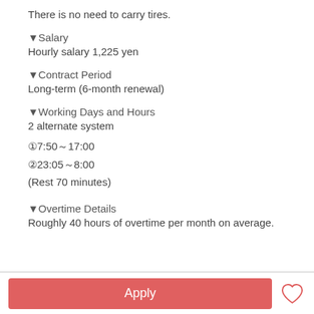There is no need to carry tires.
▼Salary
Hourly salary 1,225 yen
▼Contract Period
Long-term (6-month renewal)
▼Working Days and Hours
2 alternate system
①7:50～17:00
②23:05～8:00
(Rest 70 minutes)
▼Overtime Details
Roughly 40 hours of overtime per month on average.